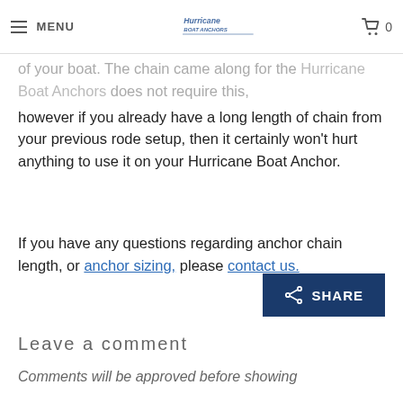MENU | Hurricane Boat Anchors | 0
of your boat. The chain came along for the Hurricane Boat Anchors does not require this, however if you already have a long length of chain from your previous rode setup, then it certainly won't hurt anything to use it on your Hurricane Boat Anchor.
If you have any questions regarding anchor chain length, or anchor sizing, please contact us.
[Figure (other): Share button with share icon and text SHARE on dark navy background]
Leave a comment
Comments will be approved before showing